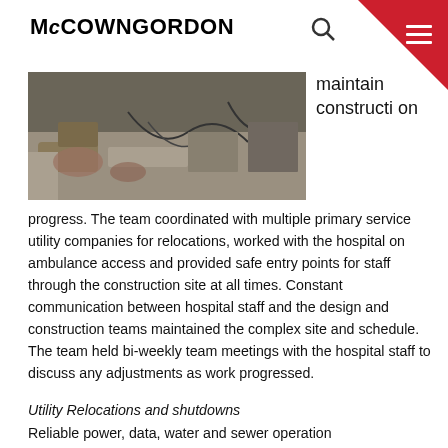McCOWNGORDON
[Figure (photo): Construction site photo showing debris, wires, and equipment on a concrete surface]
maintain construction progress. The team coordinated with multiple primary service utility companies for relocations, worked with the hospital on ambulance access and provided safe entry points for staff through the construction site at all times. Constant communication between hospital staff and the design and construction teams maintained the complex site and schedule. The team held bi-weekly team meetings with the hospital staff to discuss any adjustments as work progressed.
Utility Relocations and shutdowns
Reliable power, data, water and sewer operation